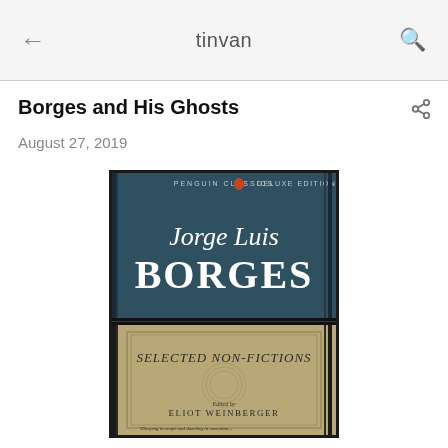tinvan
Borges and His Ghosts
August 27, 2019
[Figure (photo): Book cover of 'Jorge Luis Borges: Selected Non-Fictions', Penguin Classics Deluxe Edition, edited by Eliot Weinberger. The cover has a dark teal upper section with the author's name in white elegant typography and a tan/khaki lower section with the subtitle in italic text.]